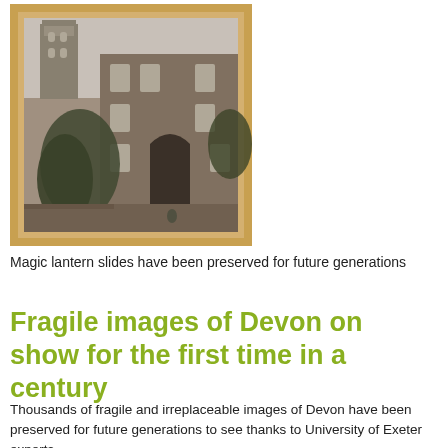[Figure (photo): Black and white historic photograph of a stone building with a gothic tower, framed with a golden/amber border resembling a magic lantern slide. The building appears to be a university or cathedral building with arched entrance, surrounded by trees.]
Magic lantern slides have been preserved for future generations
Fragile images of Devon on show for the first time in a century
Thousands of fragile and irreplaceable images of Devon have been preserved for future generations to see thanks to University of Exeter experts.
The shots – including famous locations in Exeter and Devon as they looked generations ago - are on view for the first time in a century after magic lantern slides were digitised.